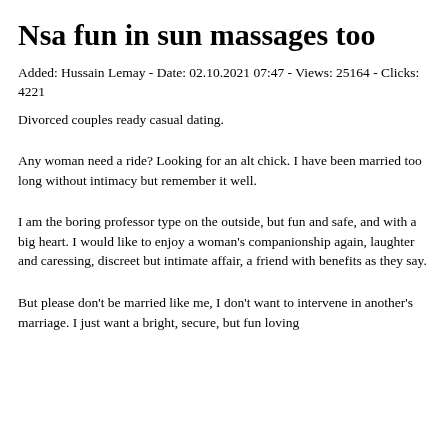Nsa fun in sun massages too
Added: Hussain Lemay - Date: 02.10.2021 07:47 - Views: 25164 - Clicks: 4221
Divorced couples ready casual dating.
Any woman need a ride? Looking for an alt chick. I have been married too long without intimacy but remember it well.
I am the boring professor type on the outside, but fun and safe, and with a big heart. I would like to enjoy a woman's companionship again, laughter and caressing, discreet but intimate affair, a friend with benefits as they say.
But please don't be married like me, I don't want to intervene in another's marriage. I just want a bright, secure, but fun loving ...